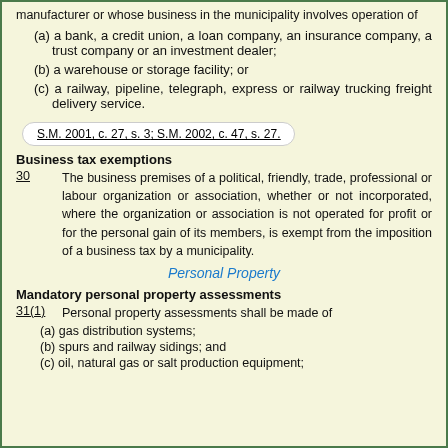manufacturer or whose business in the municipality involves operation of
(a) a bank, a credit union, a loan company, an insurance company, a trust company or an investment dealer;
(b) a warehouse or storage facility; or
(c) a railway, pipeline, telegraph, express or railway trucking freight delivery service.
S.M. 2001, c. 27, s. 3; S.M. 2002, c. 47, s. 27.
Business tax exemptions
30   The business premises of a political, friendly, trade, professional or labour organization or association, whether or not incorporated, where the organization or association is not operated for profit or for the personal gain of its members, is exempt from the imposition of a business tax by a municipality.
Personal Property
Mandatory personal property assessments
31(1)   Personal property assessments shall be made of
(a) gas distribution systems;
(b) spurs and railway sidings; and
(c) oil, natural gas or salt production equipment;